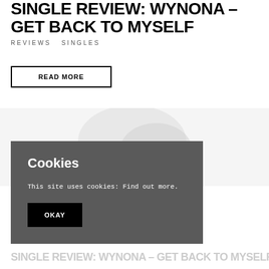SINGLE REVIEW: WYNONA – GET BACK TO MYSELF
REVIEWS SINGLES
READ MORE
[Figure (other): Faded background image area, partially visible]
Cookies
This site uses cookies: Find out more.
OKAY
SINGLE REVIEW: WYNONA – GET BACK TO MYSELF